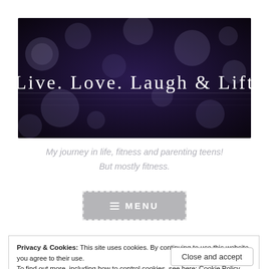[Figure (photo): Blog banner image with bokeh/lights background in dark purple/black tones with white handwritten-style text reading 'Live. Love. Laugh & Lift']
My journey in life, fitness and parenting teens! But mostly fitness.
≡ MENU
Privacy & Cookies: This site uses cookies. By continuing to use this website, you agree to their use.
To find out more, including how to control cookies, see here: Cookie Policy
Close and accept